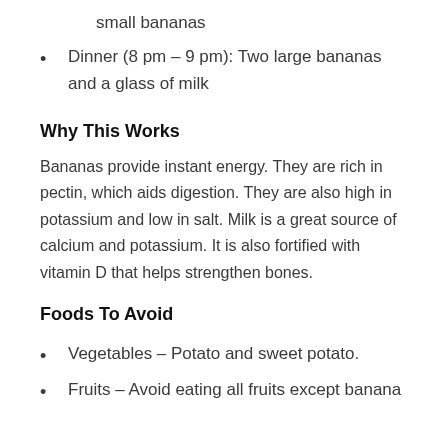small bananas
Dinner (8 pm – 9 pm): Two large bananas and a glass of milk
Why This Works
Bananas provide instant energy. They are rich in pectin, which aids digestion. They are also high in potassium and low in salt. Milk is a great source of calcium and potassium. It is also fortified with vitamin D that helps strengthen bones.
Foods To Avoid
Vegetables – Potato and sweet potato.
Fruits – Avoid eating all fruits except banana